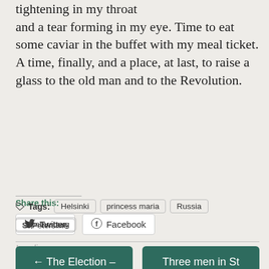tightening in my throat and a tear forming in my eye. Time to eat some caviar in the buffet with my meal ticket. A time, finally, and a place, at last, to raise a glass to the old man and to the Revolution.
Share this:
Twitter  Facebook
Loading...
Tags: Helsinki  princess maria  Russia  st petersburg  St Petersline
← The Election –
Three men in St